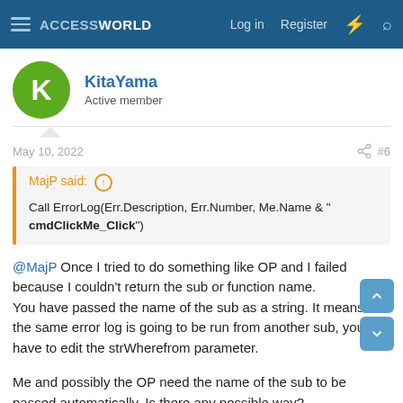ACCESSWORLD — Log in | Register
KitaYama
Active member
May 10, 2022  #6
MajP said: ↑
Call ErrorLog(Err.Description, Err.Number, Me.Name & " cmdClickMe_Click")
@MajP Once I tried to do something like OP and I failed because I couldn't return the sub or function name.
You have passed the name of the sub as a string. It means if the same error log is going to be run from another sub, you have to edit the strWherefrom parameter.

Me and possibly the OP need the name of the sub to be passed automatically. Is there any possible way?